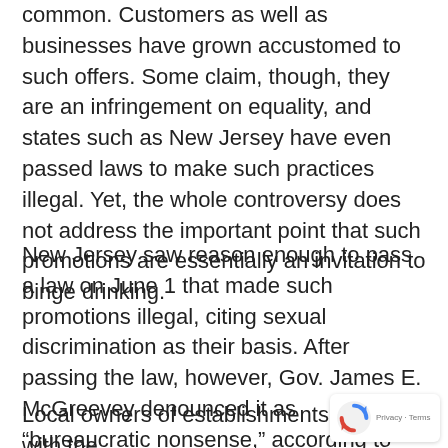common. Customers as well as businesses have grown accustomed to such offers. Some claim, though, they are an infringement on equality, and states such as New Jersey have even passed laws to make such practices illegal. Yet, the whole controversy does not address the important point that such promotions are essentially an invitation to binge drinking.
New Jersey saw reason enough to pass a law on June 1 that made such promotions illegal, citing sexual discrimination as their basis. After passing the law, however, Gov. James E. McGreevey denounced it as “bureaucratic nonsense,” according to the Associated Press, and the law was revoked Friday.
Local owners of establishments agreed with the